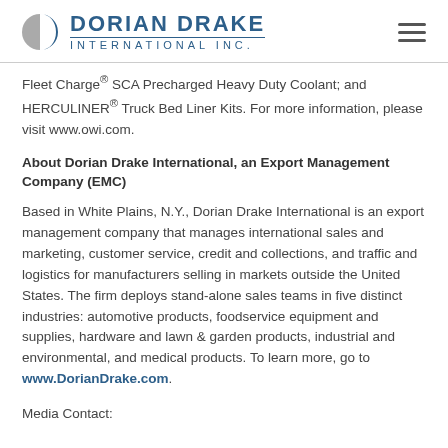[Figure (logo): Dorian Drake International Inc. logo with a circular D icon in blue/grey and hamburger menu icon]
Fleet Charge® SCA Precharged Heavy Duty Coolant; and HERCULINER® Truck Bed Liner Kits. For more information, please visit www.owi.com.
About Dorian Drake International, an Export Management Company (EMC)
Based in White Plains, N.Y., Dorian Drake International is an export management company that manages international sales and marketing, customer service, credit and collections, and traffic and logistics for manufacturers selling in markets outside the United States. The firm deploys stand-alone sales teams in five distinct industries: automotive products, foodservice equipment and supplies, hardware and lawn & garden products, industrial and environmental, and medical products. To learn more, go to www.DorianDrake.com.
Media Contact: